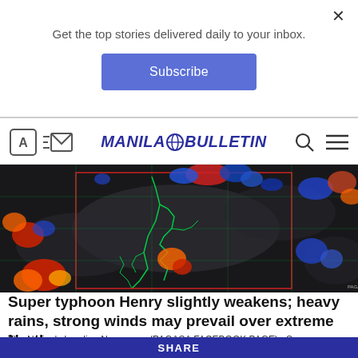Get the top stories delivered daily to your inbox.
Subscribe
[Figure (screenshot): Manila Bulletin website navigation bar with translate icon, mail icon, Manila Bulletin logo, search icon, and hamburger menu icon]
[Figure (map): PAGASA satellite image showing weather radar of the Philippines with typhoon Henry, colorful storm cells visible in radar data, red boundary box overlaid on map]
Super typhoon Henry slightly weakens; heavy rains, strong winds may prevail over extreme Northern...
The Nation's Leading Newspaper(PAGASA FACEBOOK PAGE)  Super typhoon Henry (international name: Haikui) has slightly th...
SHARE